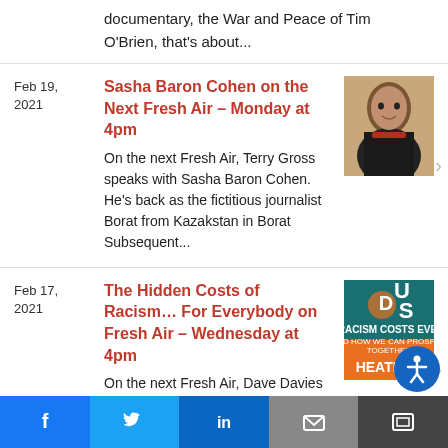documentary, the War and Peace of Tim O'Brien, that's about...
Feb 19, 2021
Sasha Baron Cohen on the Next Fresh Air – Monday at 4pm
On the next Fresh Air, Terry Gross speaks with Sasha Baron Cohen. He's back as the fictitious journalist Borat from Kazakstan in Borat Subsequent...
[Figure (photo): Headshot of Sasha Baron Cohen in dark suit]
Feb 17, 2021
The Hidden Costs of Racism… For Everybody on Fresh Air – Wednesday at 4pm
On the next Fresh Air, Dave Davies speaks with Heather McGhee, former president of the progressive think tank Demo… She writes about...
[Figure (photo): Book cover with text HEATHER and colorful design]
Social share buttons: Facebook, Twitter, LinkedIn, Email, Accessibility